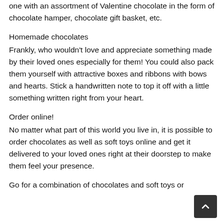one with an assortment of Valentine chocolate in the form of chocolate hamper, chocolate gift basket, etc.
Homemade chocolates
Frankly, who wouldn't love and appreciate something made by their loved ones especially for them! You could also pack them yourself with attractive boxes and ribbons with bows and hearts. Stick a handwritten note to top it off with a little something written right from your heart.
Order online!
No matter what part of this world you live in, it is possible to order chocolates as well as soft toys online and get it delivered to your loved ones right at their doorstep to make them feel your presence.
Go for a combination of chocolates and soft toys or